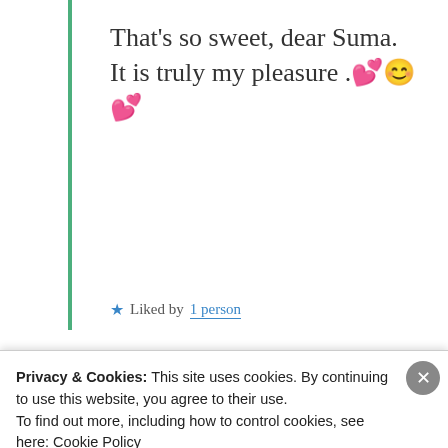That's so sweet, dear Suma. It is truly my pleasure .💕😊💕
★ Liked by 1 person
[Figure (screenshot): Tumblr Ad-Free Browsing advertisement banner showing $39.99 a year or $4.99 a month]
mildredprincewelch
Privacy & Cookies: This site uses cookies. By continuing to use this website, you agree to their use. To find out more, including how to control cookies, see here: Cookie Policy
Close and accept